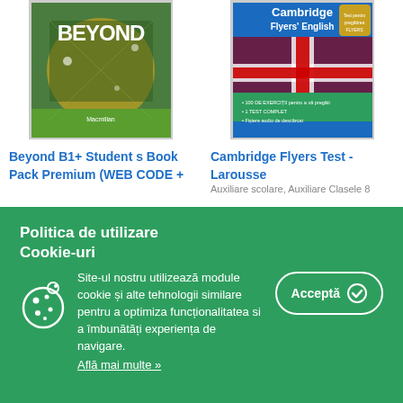[Figure (photo): Beyond B1+ Student's Book cover - green with 'BEYOND' title]
Beyond B1+ Student s Book Pack Premium (WEB CODE +
[Figure (photo): Cambridge Flyers English test book cover with UK flag and students]
Cambridge Flyers Test - Larousse
Auxiliare scolare, Auxiliare Clasele 8
Politica de utilizare Cookie-uri
Site-ul nostru utilizează module cookie și alte tehnologii similare pentru a optimiza funcționalitatea si a îmbunătăți experiența de navigare.
Află mai multe »